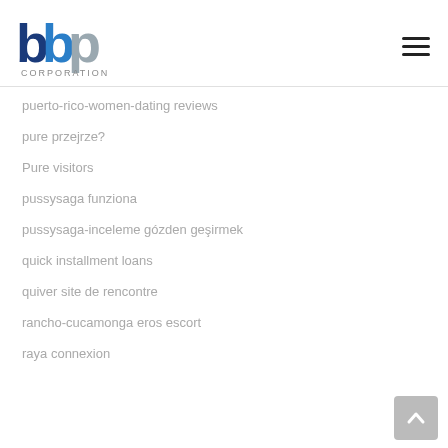[Figure (logo): BBP Corporation logo with blue and gray lettering and 'CORPORATION' text below]
puerto-rico-women-dating reviews
pure przejrze?
Pure visitors
pussysaga funziona
pussysaga-inceleme gözden geçirmek
quick installment loans
quiver site de rencontre
rancho-cucamonga eros escort
raya connexion